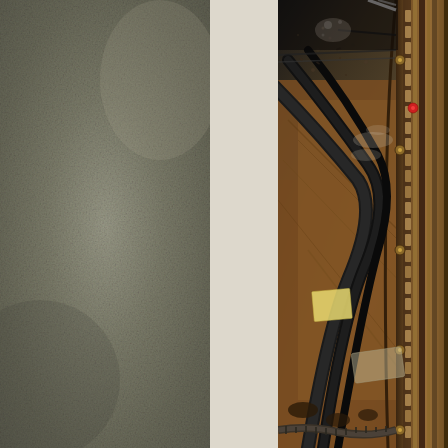[Figure (photo): Full-page spread showing three zones: left zone is a muted olive-grey textured background (like aged concrete or canvas), center zone is a pale cream/beige vertical band, right zone is a close-up photograph of the interior of an antique grand piano showing wooden soundboard, curved rim with decorative molding, multiple cables/strings running diagonally, mechanical components, brass hardware, a small yellow sticky note, and various debris/dust particles on the wooden surface.]